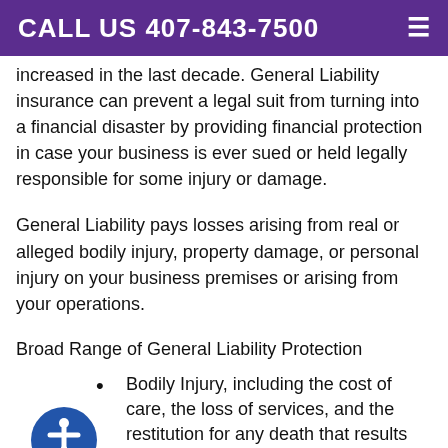CALL US 407-843-7500
increased in the last decade. General Liability insurance can prevent a legal suit from turning into a financial disaster by providing financial protection in case your business is ever sued or held legally responsible for some injury or damage.
General Liability pays losses arising from real or alleged bodily injury, property damage, or personal injury on your business premises or arising from your operations.
Broad Range of General Liability Protection
Bodily Injury, including the cost of care, the loss of services, and the restitution for any death that results from injury
Property Damage coverage for the physical damage to property of others or the loss of